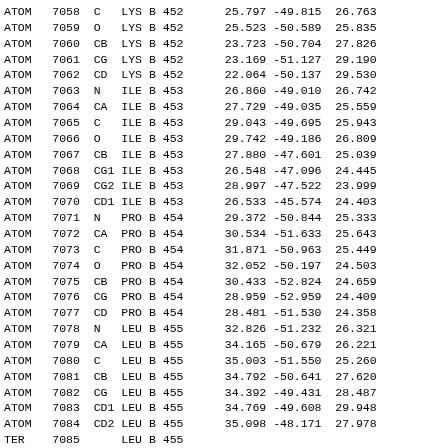| Record | Serial | Name | ResName | Chain | ResSeq | X | Y | Z |
| --- | --- | --- | --- | --- | --- | --- | --- | --- |
| ATOM | 7058 | C | LYS | B | 452 | 25.797 | -49.815 | 26.763 |
| ATOM | 7059 | O | LYS | B | 452 | 25.523 | -50.589 | 25.835 |
| ATOM | 7060 | CB | LYS | B | 452 | 23.723 | -50.704 | 27.826 |
| ATOM | 7061 | CG | LYS | B | 452 | 23.169 | -51.127 | 29.190 |
| ATOM | 7062 | CD | LYS | B | 452 | 22.064 | -50.137 | 29.530 |
| ATOM | 7063 | N | ILE | B | 453 | 26.860 | -49.010 | 26.742 |
| ATOM | 7064 | CA | ILE | B | 453 | 27.729 | -49.035 | 25.559 |
| ATOM | 7065 | C | ILE | B | 453 | 29.043 | -49.695 | 25.943 |
| ATOM | 7066 | O | ILE | B | 453 | 29.742 | -49.186 | 26.809 |
| ATOM | 7067 | CB | ILE | B | 453 | 27.880 | -47.601 | 25.039 |
| ATOM | 7068 | CG1 | ILE | B | 453 | 26.548 | -47.096 | 24.445 |
| ATOM | 7069 | CG2 | ILE | B | 453 | 28.997 | -47.522 | 23.999 |
| ATOM | 7070 | CD1 | ILE | B | 453 | 26.533 | -45.574 | 24.403 |
| ATOM | 7071 | N | PRO | B | 454 | 29.372 | -50.844 | 25.333 |
| ATOM | 7072 | CA | PRO | B | 454 | 30.534 | -51.633 | 25.643 |
| ATOM | 7073 | C | PRO | B | 454 | 31.871 | -50.963 | 25.449 |
| ATOM | 7074 | O | PRO | B | 454 | 32.052 | -50.197 | 24.503 |
| ATOM | 7075 | CB | PRO | B | 454 | 30.433 | -52.824 | 24.659 |
| ATOM | 7076 | CG | PRO | B | 454 | 28.959 | -52.959 | 24.409 |
| ATOM | 7077 | CD | PRO | B | 454 | 28.481 | -51.530 | 24.358 |
| ATOM | 7078 | N | LEU | B | 455 | 32.826 | -51.232 | 26.321 |
| ATOM | 7079 | CA | LEU | B | 455 | 34.165 | -50.679 | 26.221 |
| ATOM | 7080 | C | LEU | B | 455 | 35.003 | -51.550 | 25.260 |
| ATOM | 7081 | CB | LEU | B | 455 | 34.792 | -50.641 | 27.620 |
| ATOM | 7082 | CG | LEU | B | 455 | 34.392 | -49.431 | 28.487 |
| ATOM | 7083 | CD1 | LEU | B | 455 | 34.769 | -49.608 | 29.948 |
| ATOM | 7084 | CD2 | LEU | B | 455 | 35.098 | -48.171 | 27.978 |
| TER | 7085 |  | LEU | B | 455 |  |  |  |
| END |  |  |  |  |  |  |  |  |